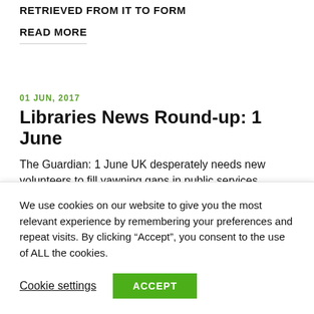RETRIEVED FROM IT TO FORM
READ MORE
01 JUN, 2017
Libraries News Round-up: 1 June
The Guardian: 1 June UK desperately needs new volunteers to fill yawning gaps in public services https://www.theguardian.com/voluntary-sector-network/2017/jun/01/volunteers-week-volunteering-
We use cookies on our website to give you the most relevant experience by remembering your preferences and repeat visits. By clicking “Accept”, you consent to the use of ALL the cookies.
Cookie settings
ACCEPT